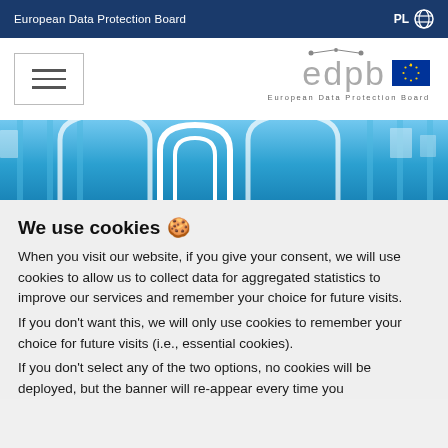European Data Protection Board | PL
[Figure (logo): EDPB logo with EU flag and text 'European Data Protection Board']
[Figure (illustration): Blue hero banner with abstract building/architecture illustration in white lines]
We use cookies 🍪
When you visit our website, if you give your consent, we will use cookies to allow us to collect data for aggregated statistics to improve our services and remember your choice for future visits.
If you don't want this, we will only use cookies to remember your choice for future visits (i.e., essential cookies).
If you don't select any of the two options, no cookies will be deployed, but the banner will re-appear every time you